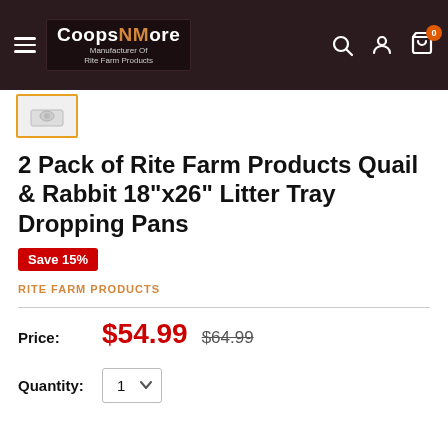CoopsNMore - Manufacturer Of Rite Farm Products
[Figure (screenshot): Thumbnail image of product (litter tray dropping pan) shown in small orange-bordered box]
2 Pack of Rite Farm Products Quail & Rabbit 18"x26" Litter Tray Dropping Pans
Save 15%
RITE FARM PRODUCTS
Price: $54.99  $64.99
Quantity: 1